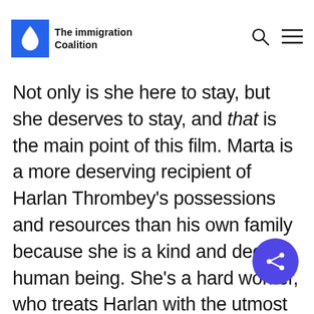The immigration Coalition
Not only is she here to stay, but she deserves to stay, and that is the main point of this film. Marta is a more deserving recipient of Harlan Thrombey's possessions and resources than his own family because she is a kind and decent human being. She's a hard worker, who treats Harlan with the utmost care. She's more interested in saving lives than destroying them, and she's such an honest person that she